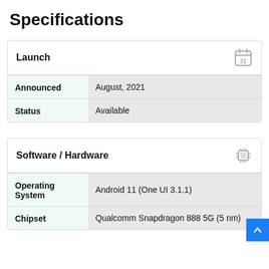Specifications
Launch
|  |  |
| --- | --- |
| Announced | August, 2021 |
| Status | Available |
Software / Hardware
|  |  |
| --- | --- |
| Operating System | Android 11 (One UI 3.1.1) |
| Chipset | Qualcomm Snapdragon 888 5G (5 nm) |